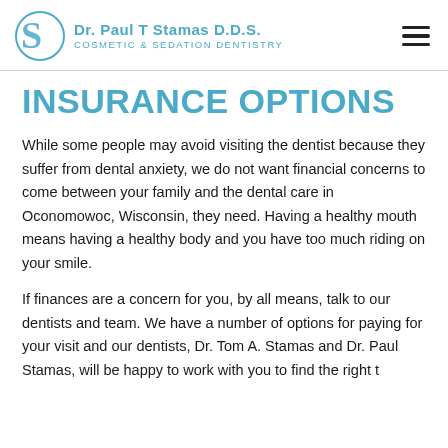Dr. Paul T Stamas D.D.S. Cosmetic & Sedation Dentistry
INSURANCE OPTIONS
While some people may avoid visiting the dentist because they suffer from dental anxiety, we do not want financial concerns to come between your family and the dental care in Oconomowoc, Wisconsin, they need. Having a healthy mouth means having a healthy body and you have too much riding on your smile.
If finances are a concern for you, by all means, talk to our dentists and team. We have a number of options for paying for your visit and our dentists, Dr. Tom A. Stamas and Dr. Paul Stamas, will be happy to work with you to find the right t...